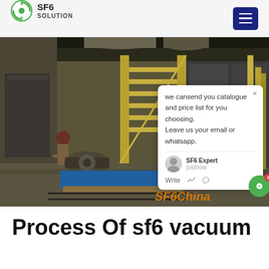SF6 SOLUTION
[Figure (photo): Industrial facility interior showing large electrical equipment (SF6 gas-insulated switchgear), workers in protective gear, metal staircases, pipes and equipment. A chat popup overlay is visible with text: 'we cansend you catalogue and price list for you choosing. Leave us your email or whatsapp.' SF6China watermark in orange italic text at bottom right.]
Process Of sf6 vacuum